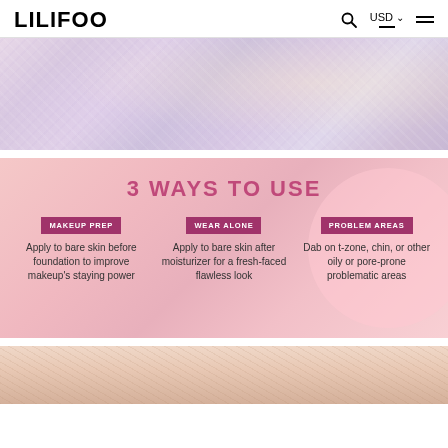LILIFOO  USD
[Figure (photo): Close-up of a pearlescent/iridescent shimmer product texture with pink and lavender hues and diamond-pattern overlay]
3 WAYS TO USE
MAKEUP PREP
Apply to bare skin before foundation to improve makeup's staying power
WEAR ALONE
Apply to bare skin after moisturizer for a fresh-faced flawless look
PROBLEM AREAS
Dab on t-zone, chin, or other oily or pore-prone problematic areas
[Figure (photo): Partial view of a cosmetic product or skin texture at the bottom of the page]